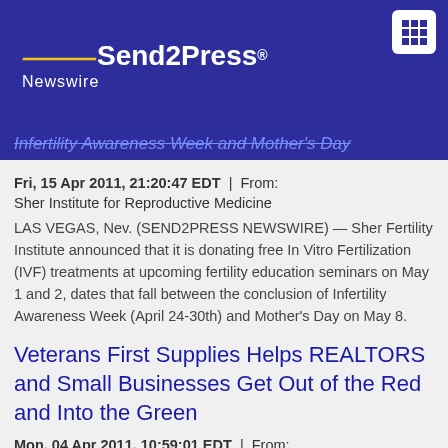Send2Press Newswire
Infertility Awareness Week and Mother's Day
Fri, 15 Apr 2011, 21:20:47 EDT | From: Sher Institute for Reproductive Medicine
LAS VEGAS, Nev. (SEND2PRESS NEWSWIRE) — Sher Fertility Institute announced that it is donating free In Vitro Fertilization (IVF) treatments at upcoming fertility education seminars on May 1 and 2, dates that fall between the conclusion of Infertility Awareness Week (April 24-30th) and Mother's Day on May 8.
Veterans First Supplies Helps REALTORS and Small Businesses Get Out of the Red and Into the Green
Mon, 04 Apr 2011, 10:59:01 EDT | From: Veterans First Supplies
LAS VEGAS, Nev. (SEND2PRESS NEWSWIRE) — In a